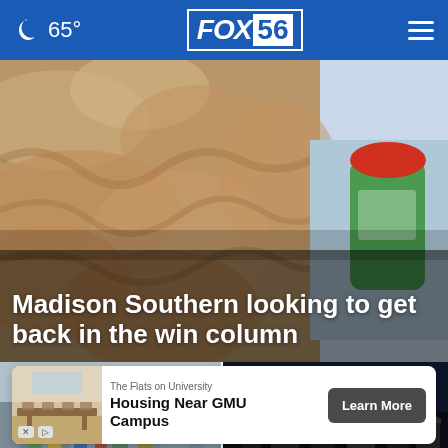🌙 65°  FOX56  ☰
[Figure (photo): Close-up of person with curly/wavy hair, and a red and green spray can visible on the right side. Hero news image.]
Madison Southern looking to get back in the win column
[Figure (photo): Left thumbnail: Street scene with crowd of people outdoors in daylight.]
[Figure (photo): Right thumbnail: Dark scene showing silhouettes of people from behind, with a play button icon and a close (X) button overlay.]
The Flats on University
Housing Near GMU Campus
Learn More